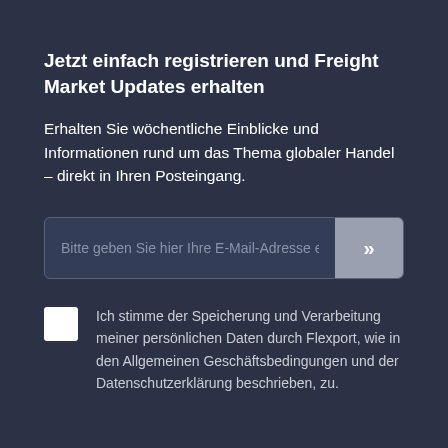Jetzt einfach registrieren und Freight Market Updates erhalten
Erhalten Sie wöchentliche Einblicke und Informationen rund um das Thema globaler Handel – direkt in Ihren Posteingang.
Bitte geben Sie hier Ihre E-Mail-Adresse e
Ich stimme der Speicherung und Verarbeitung meiner persönlichen Daten durch Flexport, wie in den Allgemeinen Geschäftsbedingungen und der Datenschutzerklärung beschrieben, zu.